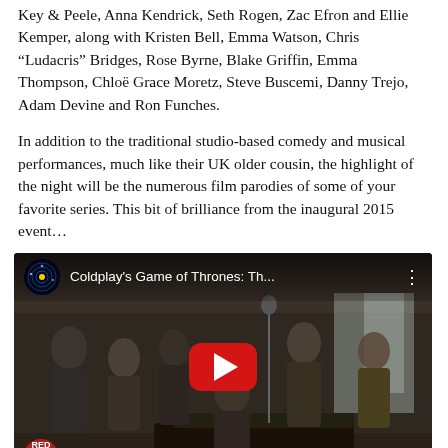Key & Peele, Anna Kendrick, Seth Rogen, Zac Efron and Ellie Kemper, along with Kristen Bell, Emma Watson, Chris “Ludacris” Bridges, Rose Byrne, Blake Griffin, Emma Thompson, Chloë Grace Moretz, Steve Buscemi, Danny Trejo, Adam Devine and Ron Funches.
In addition to the traditional studio-based comedy and musical performances, much like their UK older cousin, the highlight of the night will be the numerous film parodies of some of your favorite series. This bit of brilliance from the inaugural 2015 event…
[Figure (screenshot): YouTube video thumbnail showing Coldplay's Game of Thrones rehearsal with multiple people in a studio around a piano. The video title reads 'Coldplay's Game of Thrones: Th...' with a Red Nose Day logo watermark in the bottom left.]